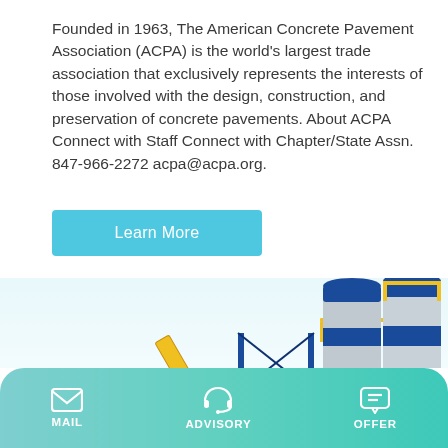Founded in 1963, The American Concrete Pavement Association (ACPA) is the world's largest trade association that exclusively represents the interests of those involved with the design, construction, and preservation of concrete pavements. About ACPA Connect with Staff Connect with Chapter/State Assn. 847-966-2272 acpa@acpa.org.
Learn More
[Figure (photo): A concrete batching plant with blue cylindrical silos, yellow conveyor belts, blue steel frame structures, and a mixing drum. A grey aggregate hopper is visible on the left.]
MAIL   ADVISORY   OFFER